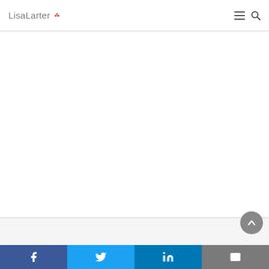LisaLarter
[Figure (screenshot): Website screenshot of LisaLarter.com showing a mostly blank white content area with navigation header]
Social share bar: Facebook, Twitter, LinkedIn, Email